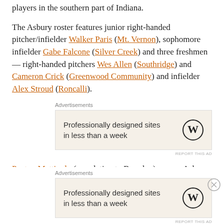players in the southern part of Indiana.
The Asbury roster features junior right-handed pitcher/infielder Walker Paris (Mt. Vernon), sophomore infielder Gabe Falcone (Silver Creek) and three freshmen — right-handed pitchers Wes Allen (Southridge) and Cameron Crick (Greenwood Community) and infielder Alex Stroud (Roncalli).
[Figure (other): Advertisement: Professionally designed sites in less than a week, WordPress logo]
Payton Mattingly (no relation to Brandon) was an Asbury senior in 2020 after playing at Southridge High (for father
[Figure (other): Advertisement: Professionally designed sites in less than a week, WordPress logo (bottom overlay)]